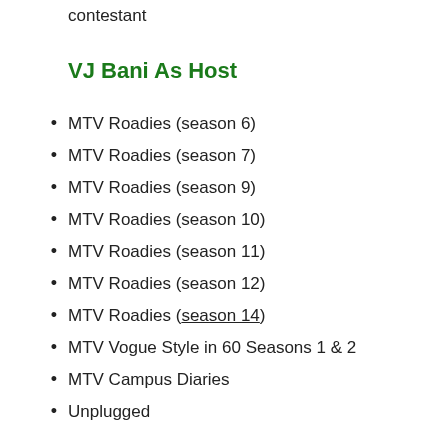contestant
VJ Bani As Host
MTV Roadies (season 6)
MTV Roadies (season 7)
MTV Roadies (season 9)
MTV Roadies (season 10)
MTV Roadies (season 11)
MTV Roadies (season 12)
MTV Roadies (season 14)
MTV Vogue Style in 60 Seasons 1 & 2
MTV Campus Diaries
Unplugged